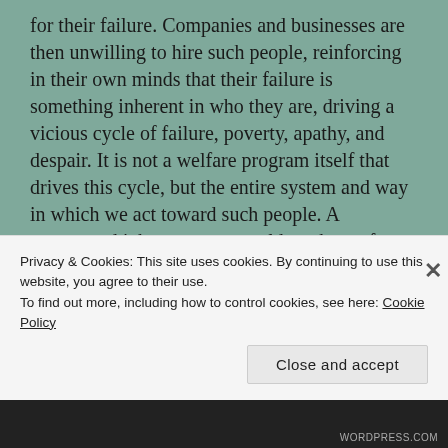for their failure. Companies and businesses are then unwilling to hire such people, reinforcing in their own minds that their failure is something inherent in who they are, driving a vicious cycle of failure, poverty, apathy, and despair. It is not a welfare program itself that drives this cycle, but the entire system and way in which we act toward such people. A guaranteed jobs program would not be perfect and would not solve every problem for every individual, but it would start to make a difference and offer some people a real way out of $2.00 a day poverty.
Tagged Aid, Government, Jobs, Poverty, Work   Leave
Privacy & Cookies: This site uses cookies. By continuing to use this website, you agree to their use.
To find out more, including how to control cookies, see here: Cookie Policy
Close and accept